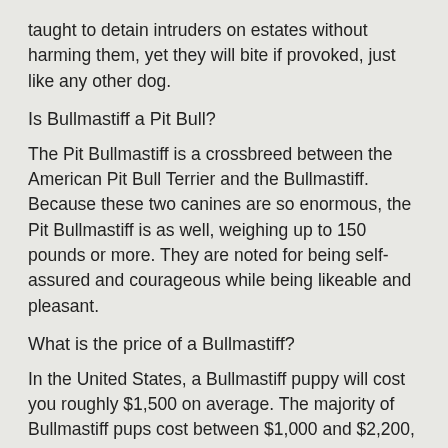taught to detain intruders on estates without harming them, yet they will bite if provoked, just like any other dog.
Is Bullmastiff a Pit Bull?
The Pit Bullmastiff is a crossbreed between the American Pit Bull Terrier and the Bullmastiff. Because these two canines are so enormous, the Pit Bullmastiff is as well, weighing up to 150 pounds or more. They are noted for being self-assured and courageous while being likeable and pleasant.
What is the price of a Bullmastiff?
In the United States, a Bullmastiff puppy will cost you roughly $1,500 on average. The majority of Bullmastiff pups cost between $1,000 and $2,200, however some can cost up to $3,000!